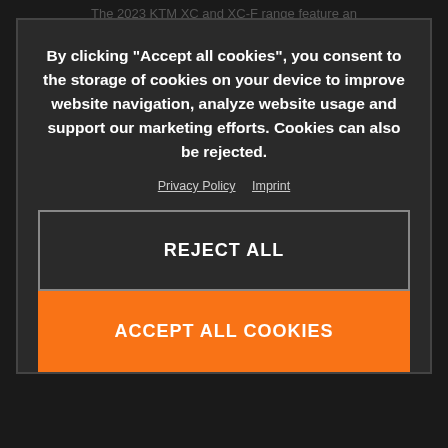The 2023 KTM XC and XC-F range feature an entirely new and improved rider triangle, providing improved knee contact – especially when standing on the pegs – with improved geometry and a narrower airbox. A unique orange seat concept enables exceptional rider movement and a conveniently grip pocket under the seat, just above the airbox, makes gripping the bike and lifting it much easier. In terms of graphics, the 2023 KTM XC and XC-F design takes its cue from the early 1990s when
By clicking "Accept all cookies", you consent to the storage of cookies on your device to improve website navigation, analyze website usage and support our marketing efforts. Cookies can also be rejected.
Privacy Policy  Imprint
REJECT ALL
ACCEPT ALL COOKIES